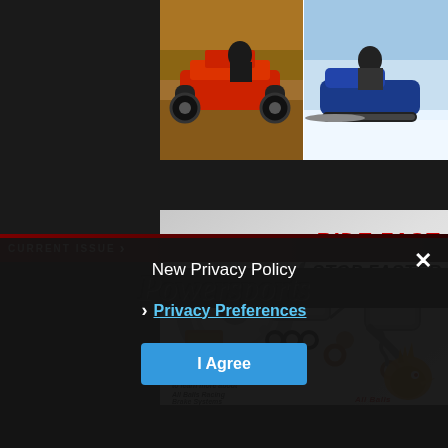[Figure (photo): Top banner showing an ATV (four-wheeler) on the left side and a snowmobile rider on the right side, forming a split action photo advertisement]
[Figure (photo): Brake parts advertisement showing exploded view of brake components (rotor, caliper, pads, master cylinder, lever, seals). Text reads RIDE FAST STOP FASTER in red and black italic. CLICK button in bottom left. All Balls Racing Brake Systems logo in bottom right.]
CURRENT ISSUE
New Privacy Policy
Privacy Preferences
I Agree
POWERSPORTS